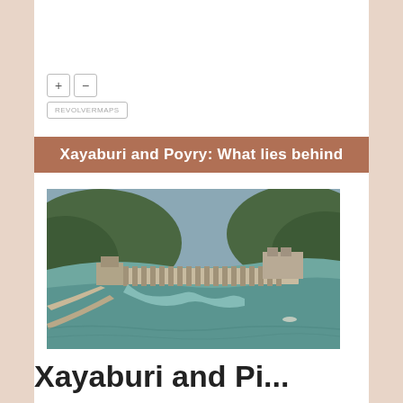[Figure (other): Map widget UI controls showing zoom in (+) and zoom out (-) buttons, and a REVOLVERMAPS label button below]
Xayaburi and Poyry: What lies behind
[Figure (photo): Aerial photograph of the Xayaburi dam on the Mekong River, showing the dam structure, spillways, surrounding green hills, and turquoise water]
Xayaburi and Pi...